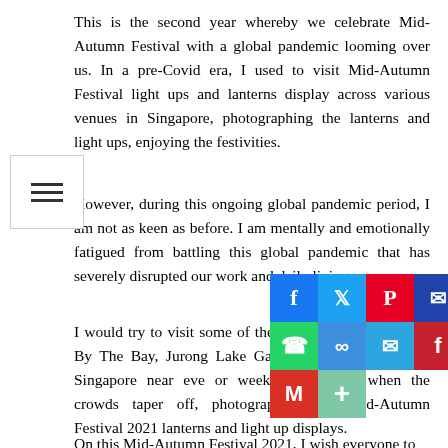This is the second year whereby we celebrate Mid-Autumn Festival with a global pandemic looming over us. In a pre-Covid era, I used to visit Mid-Autumn Festival light ups and lanterns display across various venues in Singapore, photographing the lanterns and light ups, enjoying the festivities.
However, during this ongoing global pandemic period, I am not as keen as before. I am mentally and emotionally fatigued from battling this global pandemic that has severely disrupted our work and daily living.
I would try to visit some of the venues such as Gardens By The Bay, Jurong Lake Gardens and Chinatown in Singapore near eve or weekday evenings when the crowds taper off, photographing the Mid-Autumn Festival 2021 lanterns and light up displays.
On this Mid-Autumn Festival 2021, I wish everyone to
[Figure (other): Social media share buttons overlay: Facebook (blue), Twitter (light blue), Pinterest (red), Email (dark blue), LinkedIn (blue), WhatsApp (green), Copy Link (blue), Telegram (cyan), Flipboard (red), WeChat (green), Gmail (red), Add/More (green)]